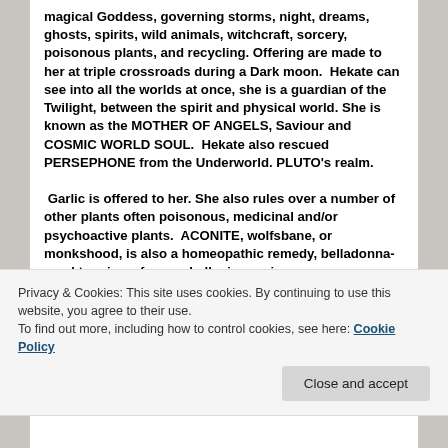magical Goddess, governing storms, night, dreams, ghosts, spirits, wild animals, witchcraft, sorcery, poisonous plants, and recycling. Offering are made to her at triple crossroads during a Dark moon.  Hekate can see into all the worlds at once, she is a guardian of the Twilight, between the spirit and physical world. She is known as the MOTHER OF ANGELS, Saviour and COSMIC WORLD SOUL.  Hekate also rescued PERSEPHONE from the Underworld. PLUTO's realm.  Garlic is offered to her. She also rules over a number of other plants often poisonous, medicinal and/or psychoactive plants.  ACONITE, wolfsbane, or monkshood, is also a homeopathic remedy, belladonna- used to raise a fever, a hallucinogenic,
Privacy & Cookies: This site uses cookies. By continuing to use this website, you agree to their use.
To find out more, including how to control cookies, see here: Cookie Policy